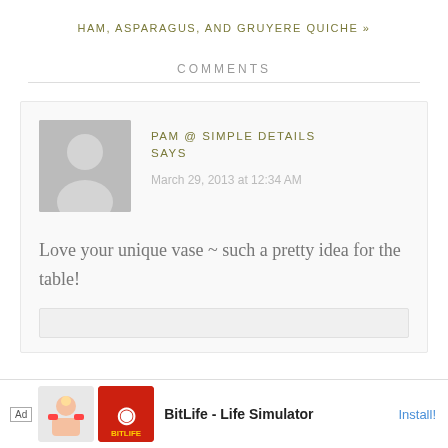HAM, ASPARAGUS, AND GRUYERE QUICHE »
COMMENTS
PAM @ SIMPLE DETAILS SAYS
March 29, 2013 at 12:34 AM
Love your unique vase ~ such a pretty idea for the table!
[Figure (other): Ad banner: BitLife - Life Simulator game advertisement with Install button]